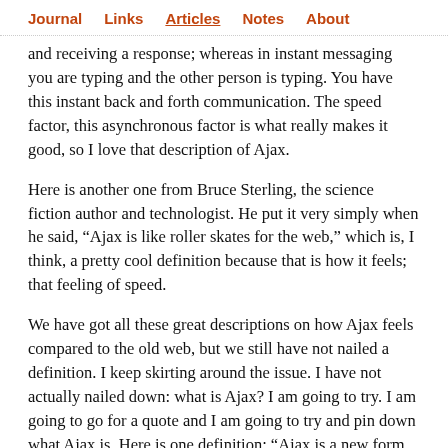Journal  Links  Articles  Notes  About
and receiving a response; whereas in instant messaging you are typing and the other person is typing. You have this instant back and forth communication. The speed factor, this asynchronous factor is what really makes it good, so I love that description of Ajax.
Here is another one from Bruce Sterling, the science fiction author and technologist. He put it very simply when he said, “Ajax is like roller skates for the web,” which is, I think, a pretty cool definition because that is how it feels; that feeling of speed.
We have got all these great descriptions on how Ajax feels compared to the old web, but we still have not nailed a definition. I keep skirting around the issue. I have not actually nailed down: what is Ajax? I am going to try. I am going to go for a quote and I am going to try and pin down what Ajax is. Here is one definition: “Ajax is a new form of communication with